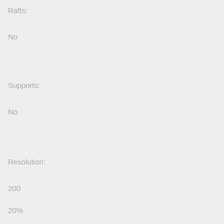Rafts:
No
Supports:
No
Resolution:
200
Infill:
20%